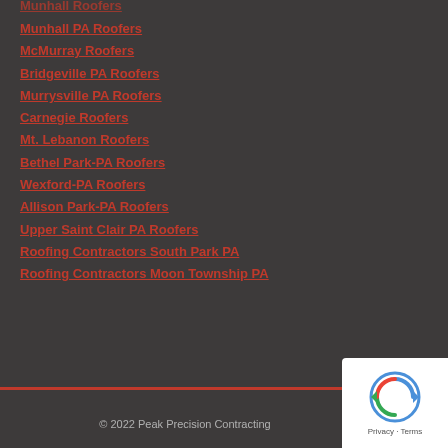Munhall PA Roofers
McMurray Roofers
Bridgeville PA Roofers
Murrysville PA Roofers
Carnegie Roofers
Mt. Lebanon Roofers
Bethel Park-PA Roofers
Wexford-PA Roofers
Allison Park-PA Roofers
Upper Saint Clair PA Roofers
Roofing Contractors South Park PA
Roofing Contractors Moon Township PA
© 2022 Peak Precision Contracting